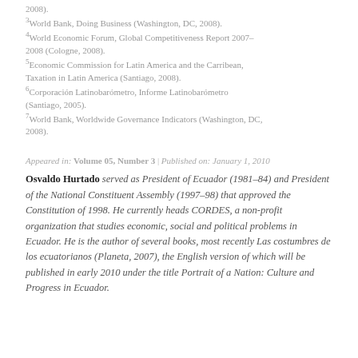2008).
3World Bank, Doing Business (Washington, DC, 2008).
4World Economic Forum, Global Competitiveness Report 2007–2008 (Cologne, 2008).
5Economic Commission for Latin America and the Carribean, Taxation in Latin America (Santiago, 2008).
6Corporación Latinobarómetro, Informe Latinobarómetro (Santiago, 2005).
7World Bank, Worldwide Governance Indicators (Washington, DC, 2008).
Appeared in: Volume 05, Number 3 | Published on: January 1, 2010
Osvaldo Hurtado served as President of Ecuador (1981–84) and President of the National Constituent Assembly (1997–98) that approved the Constitution of 1998. He currently heads CORDES, a non-profit organization that studies economic, social and political problems in Ecuador. He is the author of several books, most recently Las costumbres de los ecuatorianos (Planeta, 2007), the English version of which will be published in early 2010 under the title Portrait of a Nation: Culture and Progress in Ecuador.